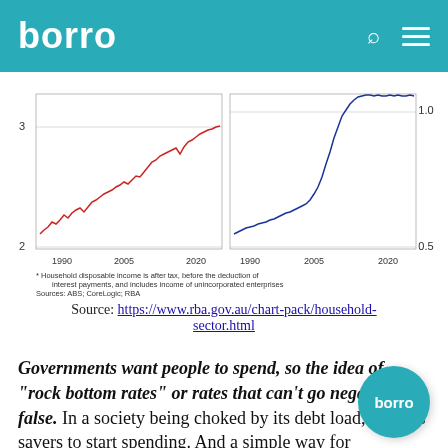borro
[Figure (continuous-plot): Dual line chart showing two panels side by side. Left panel: red line showing household debt ratio from 1990 to 2020, y-axis from 2 to 3+, rising trend. Right panel: blue line showing related metric from 1990 to 2020, y-axis from 0.5 to 1.0+, rising sharply after 2010. Footnote: Household disposable income is after tax, before the deduction of interest payments, and includes income of unincorporated enterprises. Sources: ABS; CoreLogic; RBA]
Source: https://www.rba.gov.au/chart-pack/household-sector.html
Governments want people to spend, so the idea of "rock bottom rates" or rates that can't go negative is false. In a society being choked by its debt load, it needs savers to start spending. And a simple way for governments to encourage this is by having deeper negative real rates which pushes people further out on the risk curve (e.g., buying